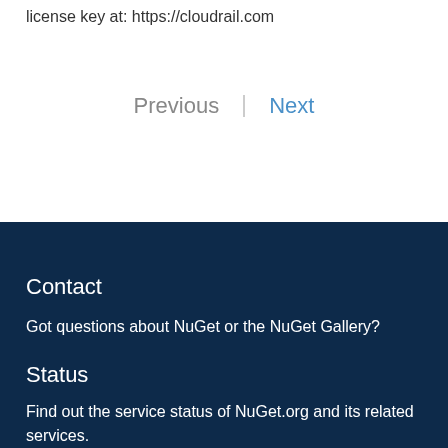license key at: https://cloudrail.com
Previous | Next
Contact
Got questions about NuGet or the NuGet Gallery?
Status
Find out the service status of NuGet.org and its related services.